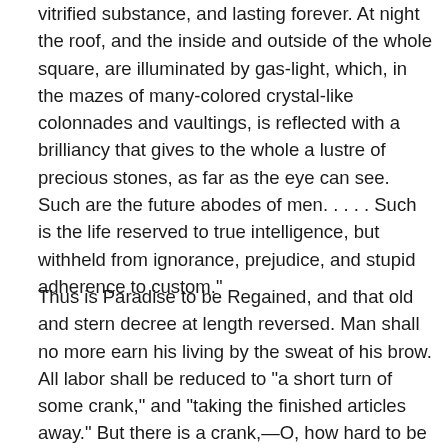vitrified substance, and lasting forever. At night the roof, and the inside and outside of the whole square, are illuminated by gas-light, which, in the mazes of many-colored crystal-like colonnades and vaultings, is reflected with a brilliancy that gives to the whole a lustre of precious stones, as far as the eye can see. Such are the future abodes of men. . . . . Such is the life reserved to true intelligence, but withheld from ignorance, prejudice, and stupid adherence to custom."
Thus is Paradise to be Regained, and that old and stern decree at length reversed. Man shall no more earn his living by the sweat of his brow. All labor shall be reduced to "a short turn of some crank," and "taking the finished articles away." But there is a crank,—O, how hard to be turned! Could there not be a crank upon a crank,—an infinitely small crank?—we would fain inquire. No,—alas! not. But there is a certain divine energy in every man, but